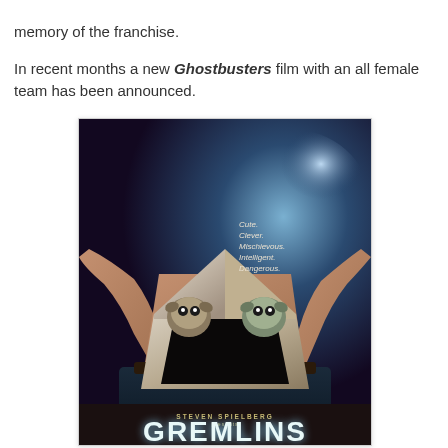memory of the franchise.
In recent months a new Ghostbusters film with an all female team has been announced.
[Figure (photo): Movie poster for Gremlins, produced by Steven Spielberg. Shows a person holding open a box with two small creatures (Mogwai/Gremlins) peeking out. Text on poster reads: Cute. Clever. Mischievous. Intelligent. Dangerous. At the bottom: STEVEN SPIELBERG presents GREMLINS.]